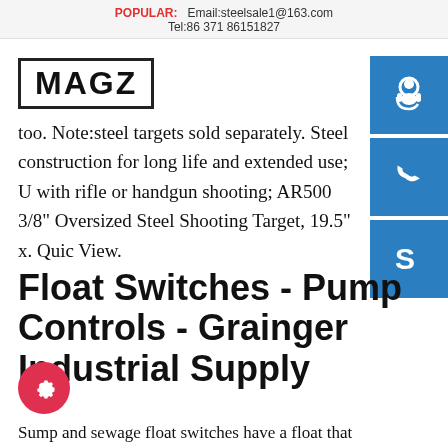POPULAR: Email:steelsale1@163.com Tel:86 371 86151827
[Figure (logo): MAGZ logo in bold black text inside a rectangular border]
[Figure (infographic): Three blue square icon buttons on right side: customer support headset icon, phone icon, Skype 'S' icon]
too. Note:steel targets sold separately. Steel construction for long life and extended use; U with rifle or handgun shooting; AR500 3/8" Oversized Steel Shooting Target, 19.5" x. Quic View.
Float Switches - Pump Controls - Grainger Industrial Supply
Sump and sewage float switches have a float that